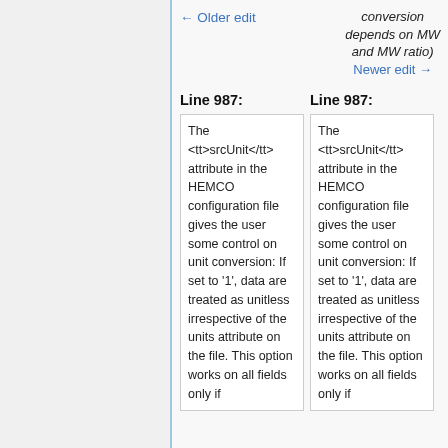← Older edit
conversion depends on MW and MW ratio)
Newer edit →
Line 987:
Line 987:
The <tt>srcUnit</tt> attribute in the HEMCO configuration file gives the user some control on unit conversion: If set to '1', data are treated as unitless irrespective of the units attribute on the file. This option works on all fields only if
The <tt>srcUnit</tt> attribute in the HEMCO configuration file gives the user some control on unit conversion: If set to '1', data are treated as unitless irrespective of the units attribute on the file. This option works on all fields only if